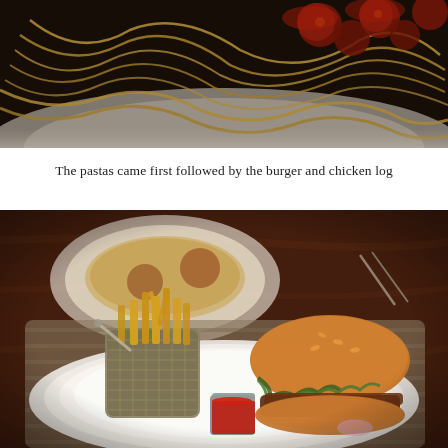[Figure (photo): Close-up photo of pasta dish in a white bowl with tomato sauce and chicken pieces, viewed from above at an angle.]
The pastas came first followed by the burger and chicken log
[Figure (photo): Photo of a burger with lettuce and toppings served on a white plate alongside french fries in a metal mesh basket and a small metal cup of ketchup on a woven placemat. Background shows another pasta dish on a table.]